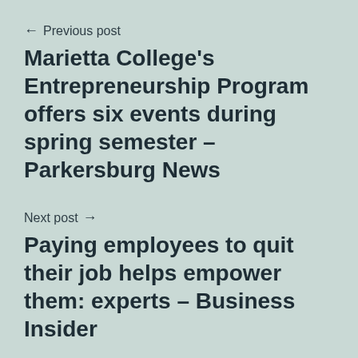← Previous post
Marietta College's Entrepreneurship Program offers six events during spring semester – Parkersburg News
Next post →
Paying employees to quit their job helps empower them: experts – Business Insider